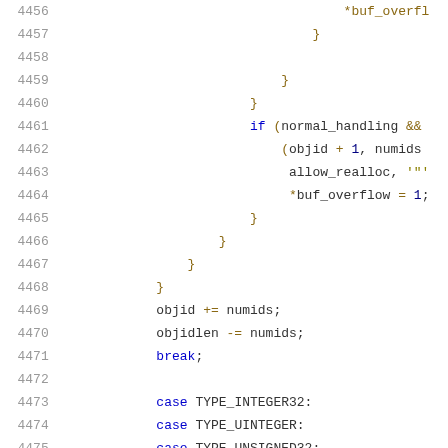[Figure (screenshot): Source code listing lines 4456-4476 showing C code with syntax highlighting. Line numbers in grey on left, code with blue keywords, gold operators/braces, black identifiers.]